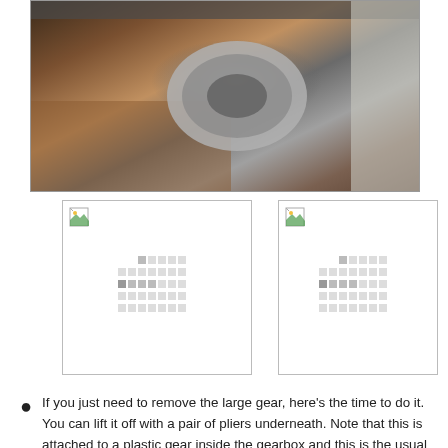[Figure (photo): Close-up photo of a gearbox interior showing metallic components, rust, brown debris and grime around a large metal cylindrical gear housing.]
[Figure (photo): Thumbnail placeholder image 1 of gearbox detail.]
[Figure (photo): Thumbnail placeholder image 2 of gearbox detail.]
If you just need to remove the large gear, here's the time to do it. You can lift it off with a pair of pliers underneath. Note that this is attached to a plastic gear inside the gearbox and this is the usual failure point if your low speed attachment is not working but your mixer runs.
Next, undo the screws holding the gearbox onto the